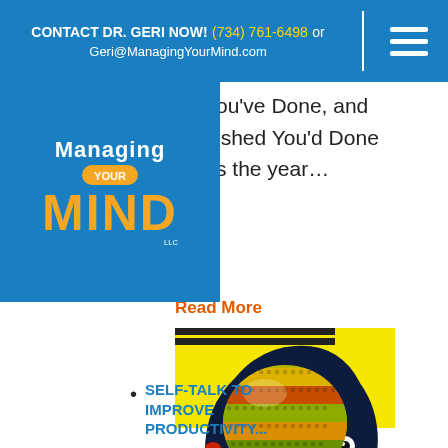CONTACT DR. GERI NOW! (734) 761-6498 or Geri@ManagingYourMind.com
[Figure (logo): Managing Your Mind LLC logo with yellow pill badge and orange MIND text on blue background]
ou've Done, and ished You'd Done s the year…
Read More
[Figure (illustration): Illustration of a human head silhouette in dark navy blue with a colorful holographic/iridescent sphere inside the brain area, against a yellow background]
SELF-TALK TO IMPROVE PRODUCTIVITY...